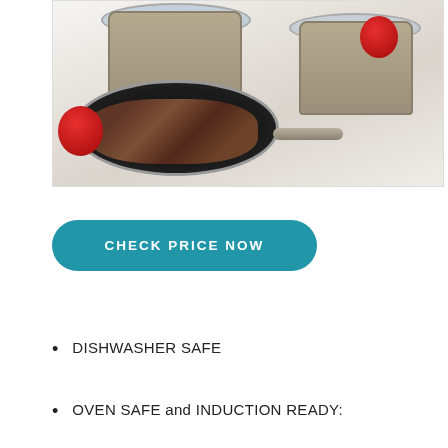[Figure (photo): Cookware set with champagne/bronze colored pots and pans with glass lids, a large non-stick skillet with cooked food, red apples and red onion on a white surface]
CHECK PRICE NOW
DISHWASHER SAFE
OVEN SAFE and INDUCTION READY: